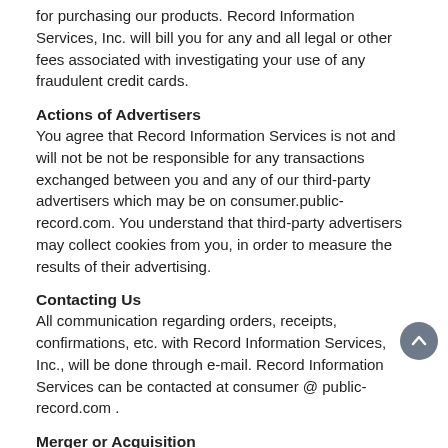for purchasing our products. Record Information Services, Inc. will bill you for any and all legal or other fees associated with investigating your use of any fraudulent credit cards.
Actions of Advertisers
You agree that Record Information Services is not and will not be not be responsible for any transactions exchanged between you and any of our third-party advertisers which may be on consumer.public-record.com. You understand that third-party advertisers may collect cookies from you, in order to measure the results of their advertising.
Contacting Us
All communication regarding orders, receipts, confirmations, etc. with Record Information Services, Inc., will be done through e-mail. Record Information Services can be contacted at consumer @ public-record.com .
Merger or Acquisition
In order to ensure a smooth transition of services, in the event of a merger, acquisition, reorganization, sale of all or substantially all of its assets, or the sale of an individual website owned by Record Information Services, Inc., Record Information Services Inc., may transfer your personal information to a third party as a part of such